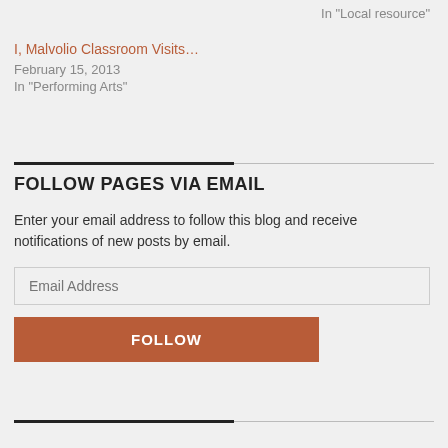In "Local resource"
I, Malvolio Classroom Visits…
February 15, 2013
In "Performing Arts"
FOLLOW PAGES VIA EMAIL
Enter your email address to follow this blog and receive notifications of new posts by email.
Email Address
FOLLOW